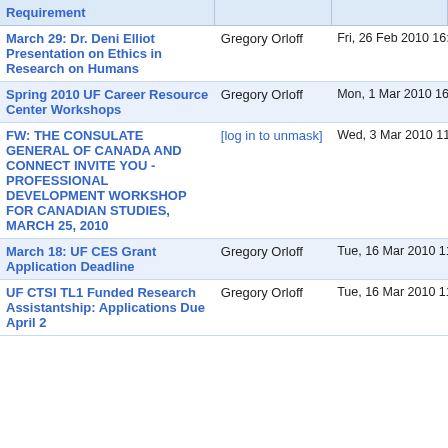| Requirement |  |  |
| --- | --- | --- |
| March 29: Dr. Deni Elliot Presentation on Ethics in Research on Humans | Gregory Orloff | Fri, 26 Feb 2010 16:34:14 -0500 |
| Spring 2010 UF Career Resource Center Workshops | Gregory Orloff | Mon, 1 Mar 2010 16:37:31 -0500 |
| FW: THE CONSULATE GENERAL OF CANADA AND CONNECT INVITE YOU - PROFESSIONAL DEVELOPMENT WORKSHOP FOR CANADIAN STUDIES, MARCH 25, 2010 | [log in to unmask] | Wed, 3 Mar 2010 11:24:39 -0500 |
| March 18: UF CES Grant Application Deadline | Gregory Orloff | Tue, 16 Mar 2010 11:22:11 -0400 |
| UF CTSI TL1 Funded Research Assistantship: Applications Due April 2 | Gregory Orloff | Tue, 16 Mar 2010 11:33:26 -0400 |